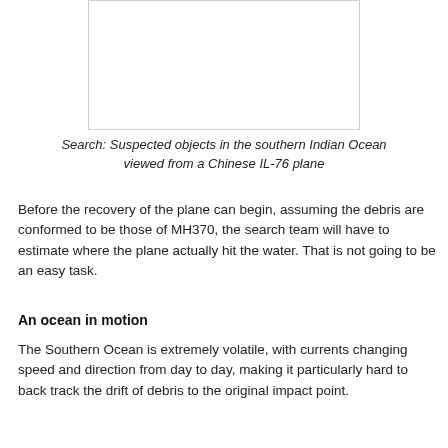[Figure (photo): Blank image placeholder representing suspected objects in the southern Indian Ocean viewed from a Chinese IL-76 plane]
Search: Suspected objects in the southern Indian Ocean viewed from a Chinese IL-76 plane
Before the recovery of the plane can begin, assuming the debris are conformed to be those of MH370, the search team will have to estimate where the plane actually hit the water. That is not going to be an easy task.
An ocean in motion
The Southern Ocean is extremely volatile, with currents changing speed and direction from day to day, making it particularly hard to back track the drift of debris to the original impact point.